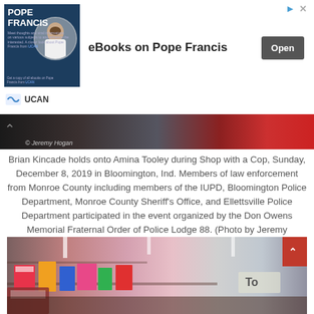[Figure (advertisement): Ad banner for eBooks on Pope Francis with UCAN branding, showing Pope Francis image, title 'eBooks on Pope Francis' and an 'Open' button]
[Figure (photo): Dark photo strip showing Jeremy Hogan photo credit, partial view of people at Shop with a Cop event]
Brian Kincade holds onto Amina Tooley during Shop with a Cop, Sunday, December 8, 2019 in Bloomington, Ind. Members of law enforcement from Monroe County including members of the IUPD, Bloomington Police Department, Monroe County Sheriff's Office, and Ellettsville Police Department participated in the event organized by the Don Owens Memorial Fraternal Order of Police Lodge 88. (Photo by Jeremy Hogan/The Bloomingtonian)
[Figure (photo): Partial photo of a retail store aisle with colorful toys on shelves, taken at a Walmart or similar store during Shop with a Cop event]